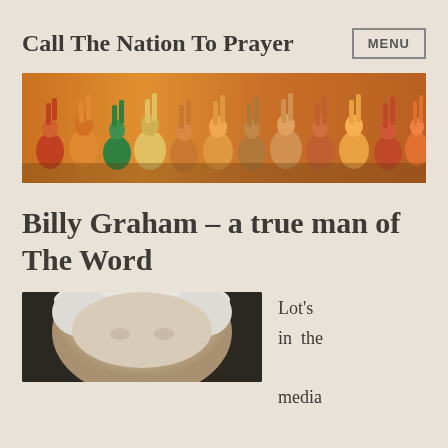Call The Nation To Prayer   MENU
[Figure (illustration): Colorful painting of a crowd of people with hands raised in worship/prayer]
Billy Graham – a true man of The Word
[Figure (photo): Close-up photo of Billy Graham, elderly man with white hair]
Lot's in the media